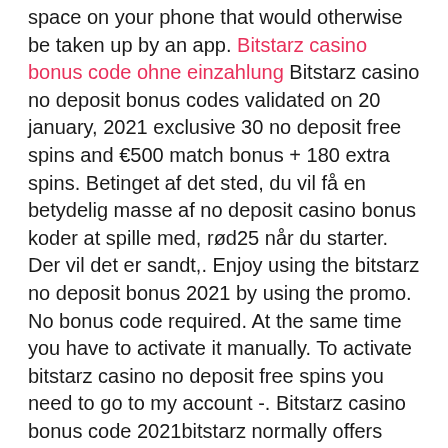space on your phone that would otherwise be taken up by an app. Bitstarz casino bonus code ohne einzahlung Bitstarz casino no deposit bonus codes validated on 20 january, 2021 exclusive 30 no deposit free spins and €500 match bonus + 180 extra spins. Betinget af det sted, du vil få en betydelig masse af no deposit casino bonus koder at spille med, rød25 når du starter. Der vil det er sandt,. Enjoy using the bitstarz no deposit bonus 2021 by using the promo. No bonus code required. At the same time you have to activate it manually. To activate bitstarz casino no deposit free spins you need to go to my account -. Bitstarz casino bonus code 2021bitstarz normally offers new players a bonus of up to 20 free spins with no deposit required but with our exclusive bitstarz bonus code: bestbonus or with one of our exclusive bitstarz links (like this one) you will get up to 250 free spins! First, you get 30 no deposit free spins from bonus. Ca only! how to use bitstarz casino bonus codes. This website offers every current coupon. 2 where can i get bitstarz no deposit bonus code? 6. 3 can i play with